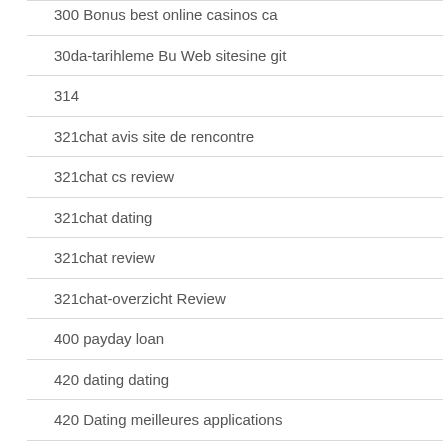300 Bonus best online casinos ca
30da-tarihleme Bu Web sitesine git
314
321chat avis site de rencontre
321chat cs review
321chat dating
321chat review
321chat-overzicht Review
400 payday loan
420 dating dating
420 Dating meilleures applications